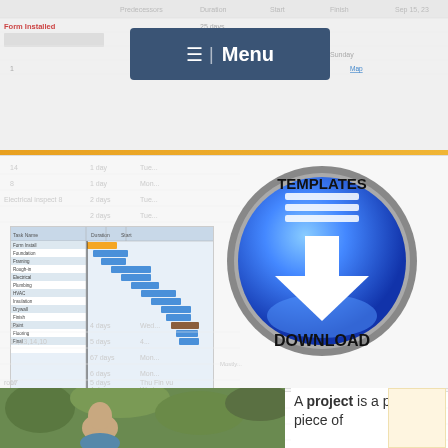[Figure (screenshot): Faded spreadsheet/Gantt chart background at top of page]
[Figure (screenshot): Navigation menu bar with hamburger icon and 'Menu' text on dark blue background]
[Figure (screenshot): Gantt chart thumbnail screenshot on left side of content block]
[Figure (illustration): Blue circular download button with 'TEMPLATES' text at top and 'DOWNLOAD' text at bottom, white arrow pointing down]
[Figure (photo): Photo of a person outdoors with green foliage background]
A project is a planned piece of